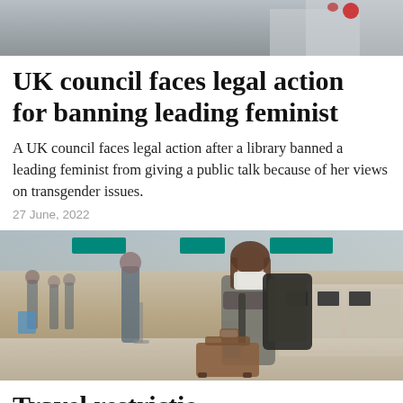[Figure (photo): Partial top image, cropped, showing what appears to be hands or objects on a gray background with a red element visible]
UK council faces legal action for banning leading feminist
A UK council faces legal action after a library banned a leading feminist from giving a public talk because of her views on transgender issues.
27 June, 2022
[Figure (photo): Airport terminal scene showing a woman wearing a face mask and carrying a large backpack and luggage bag, standing in a queue at an airport check-in area]
Travel restrictio… 48,000 COVID d…